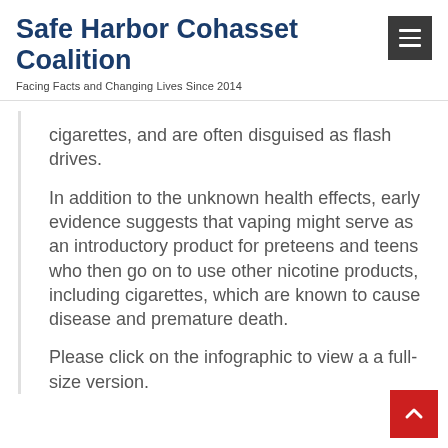Safe Harbor Cohasset Coalition
Facing Facts and Changing Lives Since 2014
cigarettes, and are often disguised as flash drives.
In addition to the unknown health effects, early evidence suggests that vaping might serve as an introductory product for preteens and teens who then go on to use other nicotine products, including cigarettes, which are known to cause disease and premature death.
Please click on the infographic to view a a full-size version.